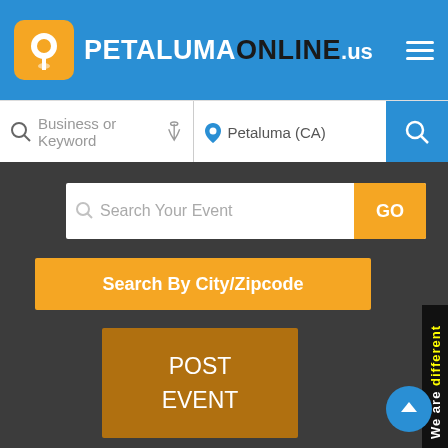PETALUMAONLINE .us
Business or Keyword | Petaluma (CA)
Search Your Event GO
Search By City/Zipcode
POST EVENT
We are different